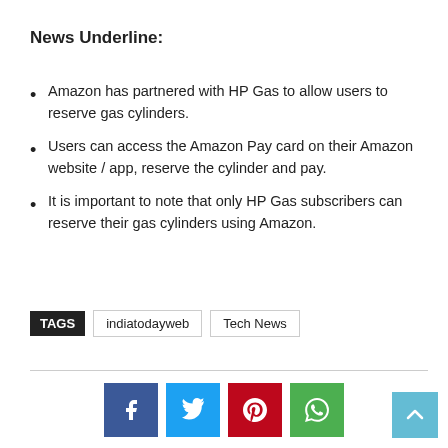News Underline:
Amazon has partnered with HP Gas to allow users to reserve gas cylinders.
Users can access the Amazon Pay card on their Amazon website / app, reserve the cylinder and pay.
It is important to note that only HP Gas subscribers can reserve their gas cylinders using Amazon.
TAGS  indiatodayweb  Tech News
[Figure (infographic): Social share buttons: Facebook (blue), Twitter (cyan), Pinterest (red), WhatsApp (green)]